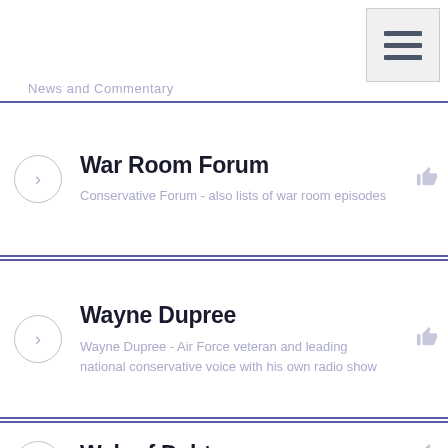[Figure (other): Hamburger menu icon button in top-right corner]
News and Commentary
War Room Forum — Conservative Forum - also lists of war room episodes
Wayne Dupree — Wayne Dupree - Air Force veteran and leading national conservative voice with his own radio show
Web of Debt — Ellen Hodgson Brown, J.D. Our money system is not what we have been led to believe
We Love Trump